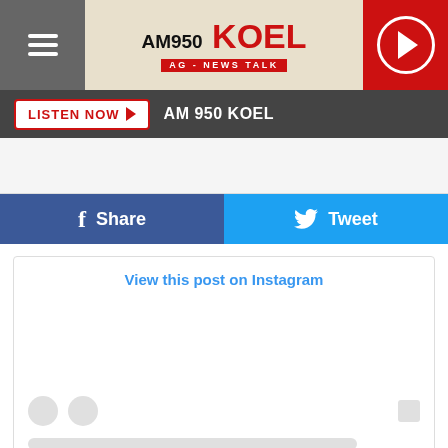[Figure (logo): AM 950 KOEL AG - News Talk radio station logo header with hamburger menu and play button]
LISTEN NOW  AM 950 KOEL
[Figure (other): Share and Tweet social media buttons]
View this post on Instagram
A post shared by Sam Williams  (@samwilliams)